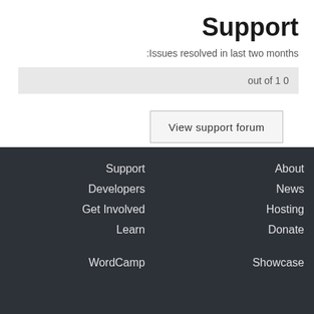Support
:Issues resolved in last two months
out of 1 0
View support forum
Support
Developers
Get Involved
Learn
About
News
Hosting
Donate
WordCamp
Showcase